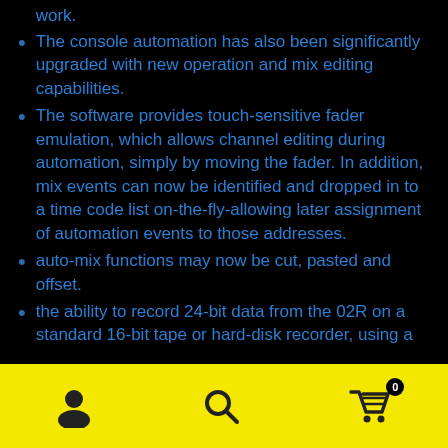work.
The console automation has also been significantly upgraded with new operation and mix editing capabilities.
The software provides touch-sensitive fader emulation, which allows channel editing during automation, simply by moving the fader. In addition, mix events can now be identified and dropped in to a time code list on-the-fly-allowing later assignment of automation events to those addresses.
auto-mix functions may now be cut, pasted and offset.
the ability to record 24-bit data from the 02R on a standard 16-bit tape or hard-disk recorder, using a